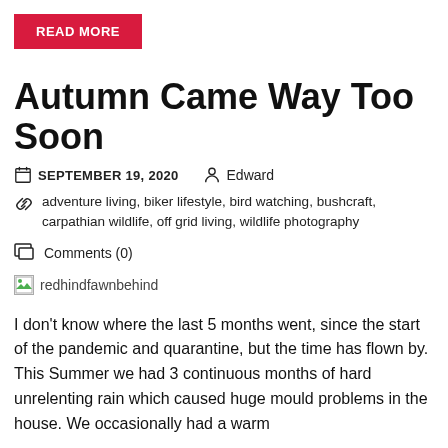READ MORE
Autumn Came Way Too Soon
SEPTEMBER 19, 2020   Edward
adventure living, biker lifestyle, bird watching, bushcraft, carpathian wildlife, off grid living, wildlife photography
Comments (0)
[Figure (photo): Broken/missing image placeholder with alt text 'redhindfawnbehind']
I don't know where the last 5 months went, since the start of the pandemic and quarantine, but the time has flown by. This Summer we had 3 continuous months of hard unrelenting rain which caused huge mould problems in the house. We occasionally had a warm